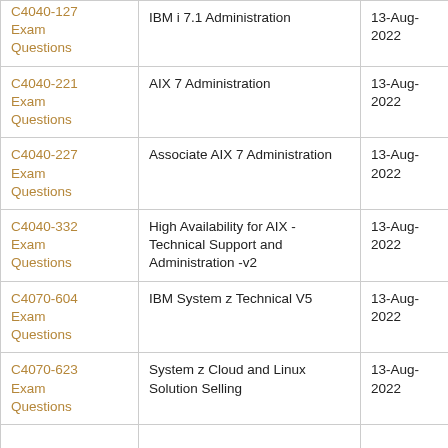| Exam Code | Exam Name | Date |
| --- | --- | --- |
| C4040-127 Exam Questions | IBM i 7.1 Administration | 13-Aug-2022 |
| C4040-221 Exam Questions | AIX 7 Administration | 13-Aug-2022 |
| C4040-227 Exam Questions | Associate AIX 7 Administration | 13-Aug-2022 |
| C4040-332 Exam Questions | High Availability for AIX - Technical Support and Administration -v2 | 13-Aug-2022 |
| C4070-604 Exam Questions | IBM System z Technical V5 | 13-Aug-2022 |
| C4070-623 Exam Questions | System z Cloud and Linux Solution Selling | 13-Aug-2022 |